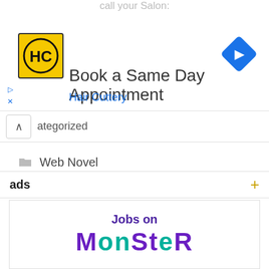[Figure (screenshot): Hair Cuttery advertisement banner with logo, text 'Book a Same Day Appointment', 'Hair Cuttery', navigation diamond icon, and partial top text 'call your Salon:']
^ ategorized
Web Novel
BTOG
LDM
PMZ
ULMF
ads +
[Figure (screenshot): Monster jobs advertisement: 'Jobs on MONSTER' text logo in purple and teal]